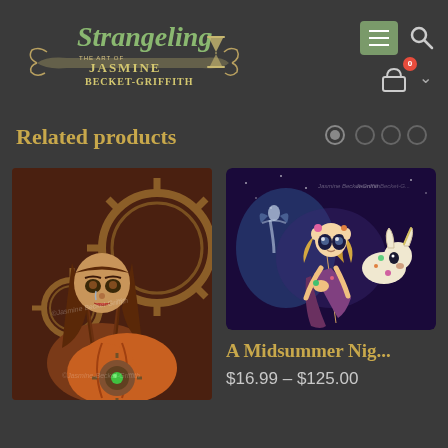[Figure (logo): Strangeling logo - The Art of Jasmine Becket-Griffith with hourglass icon]
[Figure (illustration): Navigation icons: hamburger menu button, search icon, shopping cart with badge showing 0, chevron]
Related products
[Figure (photo): Steampunk pumpkin girl artwork with gears and mechanical elements, watermarked Jasmine Becket-Griffith]
[Figure (photo): A Midsummer Night fantasy artwork with fairy figures in blue/purple tones, watermarked Jasmine Becket-Griffith]
A Midsummer Nig...
$16.99 – $125.00